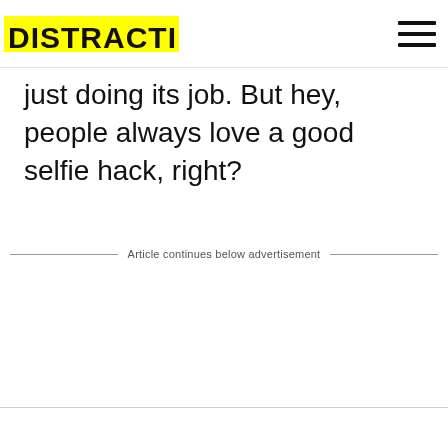DISTRACTIFY
just doing its job. But hey, people always love a good selfie hack, right?
Article continues below advertisement